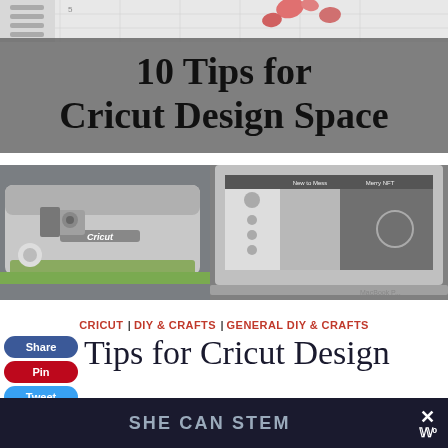[Figure (screenshot): Cricut cutting machine and laptop with Design Space software visible on screen, with design grid and paw print shapes in background]
10 Tips for Cricut Design Space
CRICUT | DIY & CRAFTS | GENERAL DIY & CRAFTS
Tips for Cricut Design
[Figure (infographic): Share, Pin, Tweet social media buttons (blue, red, light blue)]
SHE CAN STEM